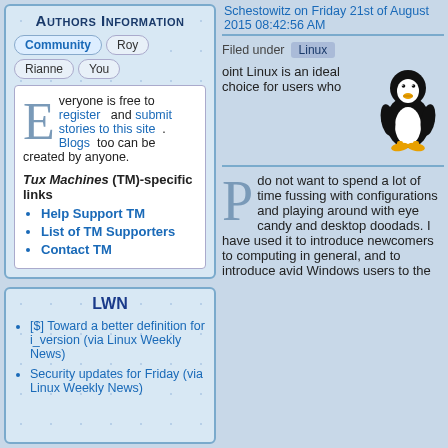Authors Information
Community Roy Rianne You
Everyone is free to register and submit stories to this site. Blogs too can be created by anyone.
Tux Machines (TM)-specific links
Help Support TM
List of TM Supporters
Contact TM
LWN
[$] Toward a better definition for i_version (via Linux Weekly News)
Security updates for Friday (via Linux Weekly News)
Schestowitz on Friday 21st of August 2015 08:42:56 AM
Filed under Linux
oint Linux is an ideal choice for users who
[Figure (illustration): Tux the Linux penguin mascot - black and white penguin with yellow beak and feet]
do not want to spend a lot of time fussing with configurations and playing around with eye candy and desktop doodads. I have used it to introduce newcomers to computing in general, and to introduce avid Windows users to the